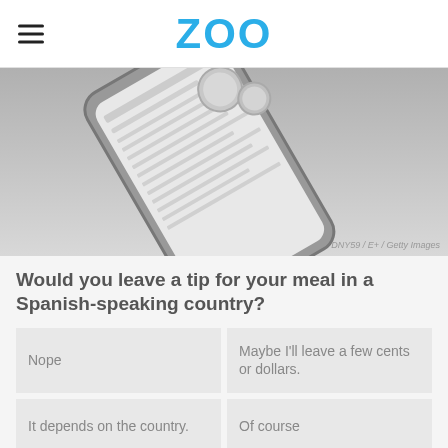ZOO
[Figure (photo): A smartphone resting at an angle on a light gray background, showing what appears to be a check or receipt on its screen, with coins nearby. Attribution: DNY59 / E+ / Getty Images]
DNY59 / E+ / Getty Images
Would you leave a tip for your meal in a Spanish-speaking country?
Nope
Maybe I'll leave a few cents or dollars.
It depends on the country.
Of course